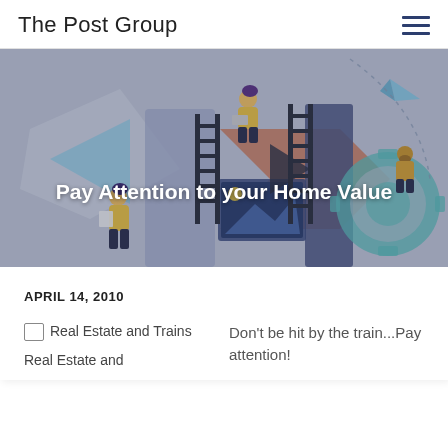The Post Group
[Figure (illustration): Hero banner illustration showing cartoon people working with digital/media elements including ladders, gears, picture frames, arrows, on a grey-blue background.]
Pay Attention to your Home Value
APRIL 14, 2010
[Figure (photo): Broken image placeholder labeled 'Real Estate and Trains']
Real Estate and Trains
Real Estate and
Don't be hit by the train...Pay attention!